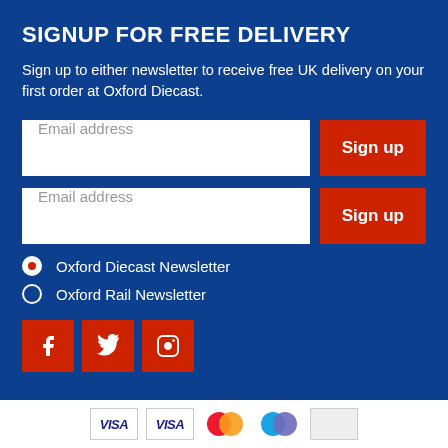SIGNUP FOR FREE DELIVERY
Sign up to either newsletter to receive free UK delivery on your first order at Oxford Diecast.
Oxford Diecast Newsletter
Oxford Rail Newsletter
[Figure (other): Social media icons: Facebook, Twitter, Instagram in red square buttons]
[Figure (other): Payment method icons: Visa, Mastercard and other cards in white footer section]